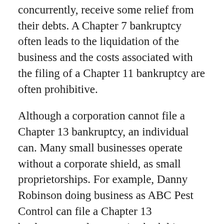concurrently, receive some relief from their debts. A Chapter 7 bankruptcy often leads to the liquidation of the business and the costs associated with the filing of a Chapter 11 bankruptcy are often prohibitive.
Although a corporation cannot file a Chapter 13 bankruptcy, an individual can. Many small businesses operate without a corporate shield, as small proprietorships. For example, Danny Robinson doing business as ABC Pest Control can file a Chapter 13 bankruptcy and reorganize both his personal and business debts within the one device of Chapter 13.